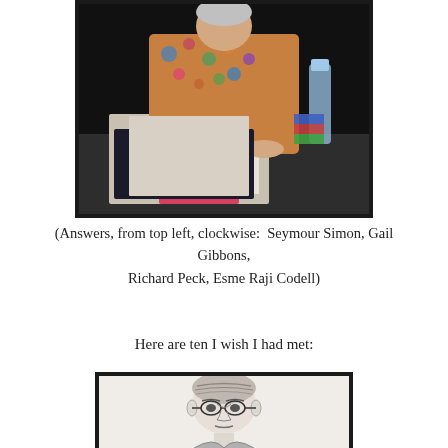[Figure (photo): Color photograph of a person in a floral jacket sitting at a table with books and papers, signing books at what appears to be an author event.]
(Answers, from top left, clockwise:  Seymour Simon, Gail Gibbons,
Richard Peck, Esme Raji Codell)
Here are ten I wish I had met:
[Figure (illustration): Black and white portrait illustration of a person wearing glasses with neatly combed hair, appearing to be a classic author portrait.]